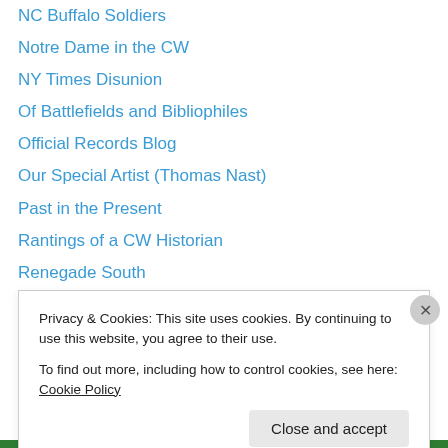NC Buffalo Soldiers
Notre Dame in the CW
NY Times Disunion
Of Battlefields and Bibliophiles
Official Records Blog
Our Special Artist (Thomas Nast)
Past in the Present
Rantings of a CW Historian
Renegade South
Rice University's CW Blog
Rifles and Rebellion, CW Soldiers of Texas
Running the Blockade
Seven Score and Ten
Southern Historian
Privacy & Cookies: This site uses cookies. By continuing to use this website, you agree to their use.
To find out more, including how to control cookies, see here: Cookie Policy
Close and accept